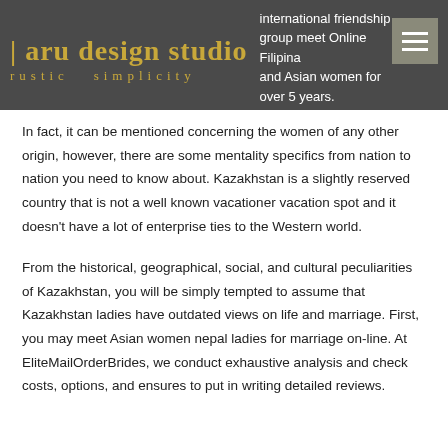taru design studio rustic simplicity | international friendship group meet Online Filipina and Asian women for over 5 years.
In fact, it can be mentioned concerning the women of any other origin, however, there are some mentality specifics from nation to nation you need to know about. Kazakhstan is a slightly reserved country that is not a well known vacationer vacation spot and it doesn't have a lot of enterprise ties to the Western world.
From the historical, geographical, social, and cultural peculiarities of Kazakhstan, you will be simply tempted to assume that Kazakhstan ladies have outdated views on life and marriage. First, you may meet Asian women nepal ladies for marriage on-line. At EliteMailOrderBrides, we conduct exhaustive analysis and check costs, options, and ensures to put in writing detailed reviews.